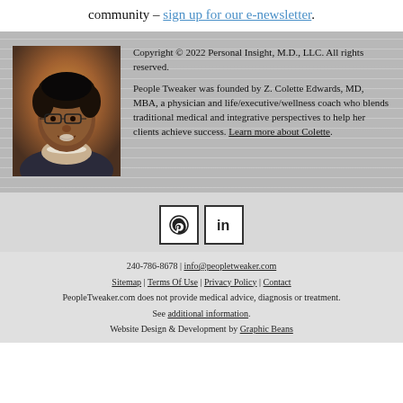community – sign up for our e-newsletter.
[Figure (photo): Headshot of Z. Colette Edwards, MD, MBA — a woman with short hair and glasses, wearing a dark jacket and pearl necklace, smiling against a warm-toned background.]
Copyright © 2022 Personal Insight, M.D., LLC. All rights reserved.

People Tweaker was founded by Z. Colette Edwards, MD, MBA, a physician and life/executive/wellness coach who blends traditional medical and integrative perspectives to help her clients achieve success. Learn more about Colette.
[Figure (infographic): Pinterest and LinkedIn social media icons in bordered square boxes.]
240-786-8678 | info@peopletweaker.com
Sitemap | Terms Of Use | Privacy Policy | Contact
PeopleTweaker.com does not provide medical advice, diagnosis or treatment. See additional information.
Website Design & Development by Graphic Beans